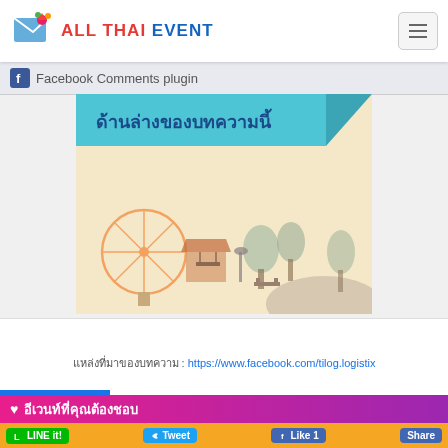ALL THAI EVENT
Facebook Comments plugin
[Figure (illustration): Event poster image with Thai text in teal/cyan header banner, cream/beige background with faint silhouettes of a ferris wheel, trees, a bench, and park scenery at the bottom]
แหล่งที่มาของบทความ : https://www.facebook.com/tilog.logistix
♥ อีเวนท์ที่คุณต้องชอบ
LINE it!   Tweet   Like 1   Share